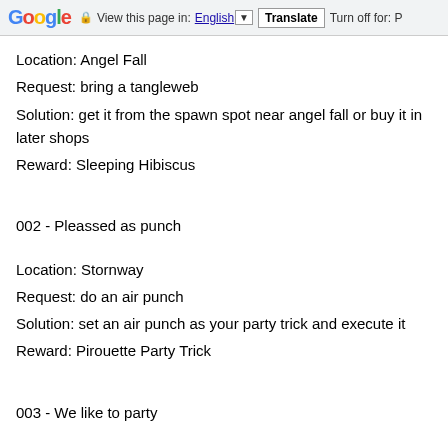Google  View this page in: English  Translate  Turn off for: P
Location: Angel Fall
Request: bring a tangleweb
Solution: get it from the spawn spot near angel fall or buy it in later shops
Reward: Sleeping Hibiscus
002 - Pleassed as punch
Location: Stornway
Request: do an air punch
Solution: set an air punch as your party trick and execute it
Reward: Pirouette Party Trick
003 - We like to party